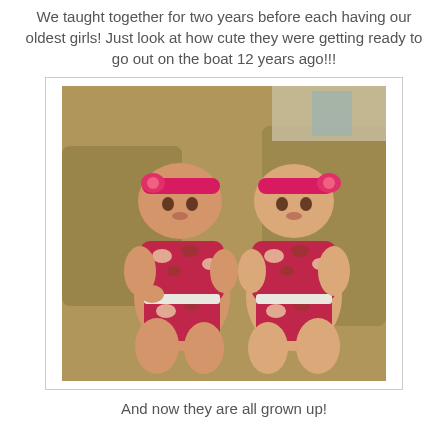We taught together for two years before each having our oldest girls!  Just look at how cute they were getting ready to go out on the boat 12 years ago!!!
[Figure (photo): Two baby girls sitting side by side on a couch, both wearing matching pink floral swimsuit outfits with pink headbands with flower accents.]
And now they are all grown up!